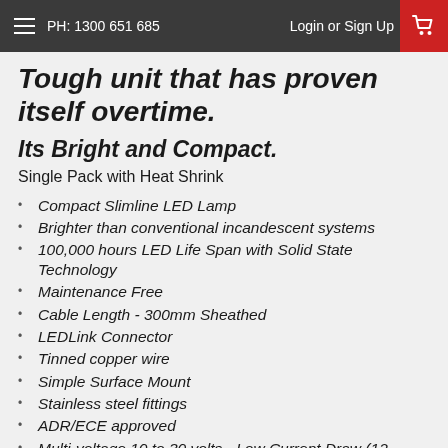PH: 1300 651 685  Login or Sign Up
Tough unit that has proven itself overtime.
Its Bright and Compact.
Single Pack with Heat Shrink
Compact Slimline LED Lamp
Brighter than conventional incandescent systems
100,000 hours LED Life Span with Solid State Technology
Maintenance Free
Cable Length - 300mm Sheathed
LEDLink Connector
Tinned copper wire
Simple Surface Mount
Stainless steel fittings
ADR/ECE approved
Multi-voltage 10 to 30 volts - Low Current Draw (12...